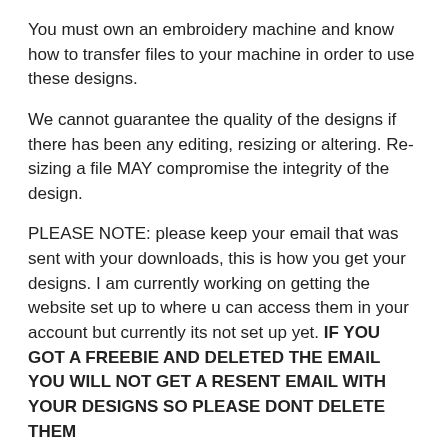You must own an embroidery machine and know how to transfer files to your machine in order to use these designs.
We cannot guarantee the quality of the designs if there has been any editing, resizing or altering. Re-sizing a file MAY compromise the integrity of the design.
PLEASE NOTE: please keep your email that was sent with your downloads, this is how you get your designs. I am currently working on getting the website set up to where u can access them in your account but currently its not set up yet. IF YOU GOT A FREEBIE AND DELETED THE EMAIL YOU WILL NOT GET A RESENT EMAIL WITH YOUR DESIGNS SO PLEASE DONT DELETE THEM
REFUNDS POLICY
Due to the digital nature of our designs, we have a strict NO REFUNDS policy. All sales are final. If you have any questions, please do email us and we will always be happy to work with